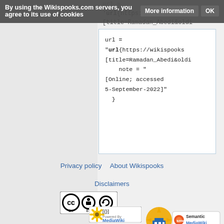By using the Wikispooks.com servers, you agree to its use of cookies  More information  OK
url =
"url{https://wikispooks...
[title=Ramadan_Abedi&oldi...
note = "
[Online; accessed
5-September-2022]"
}
Privacy policy   About Wikispooks
Disclaimers
[Figure (logo): Creative Commons BY-SA license badge]
[Figure (logo): Powered by MediaWiki badge]
[Figure (logo): Semantic MediaWiki badge]